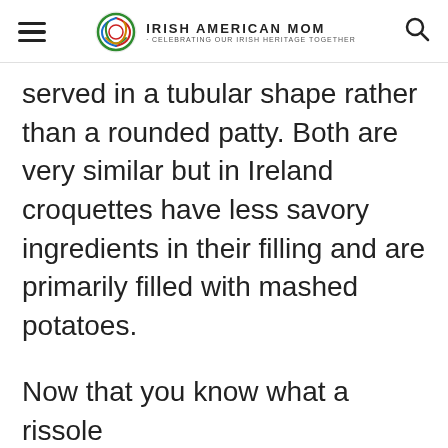Irish American Mom - Celebrating Our Irish Heritage Together
served in a tubular shape rather than a rounded patty. Both are very similar but in Ireland croquettes have less savory ingredients in their filling and are primarily filled with mashed potatoes.
Now that you know what a rissole is, let's move on with using up our